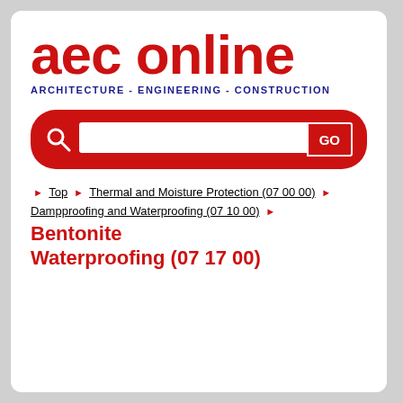[Figure (logo): AEC Online logo — red bold lowercase text 'aec online' with subtitle 'ARCHITECTURE - ENGINEERING - CONSTRUCTION' in blue]
[Figure (screenshot): Red search bar with magnifying glass icon, white text input field, and red GO button]
Top ▶ Thermal and Moisture Protection (07 00 00) ▶ Dampproofing and Waterproofing (07 10 00) ▶ Bentonite Waterproofing (07 17 00)
Includes: Waterproofing formed of bentonite clay.
Systems required: Systems related to REU...